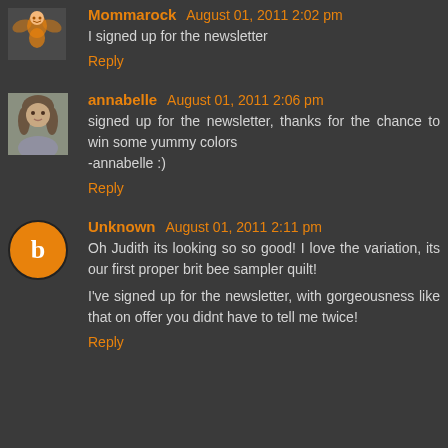Mommarock August 01, 2011 2:02 pm
I signed up for the newsletter
Reply
annabelle August 01, 2011 2:06 pm
signed up for the newsletter, thanks for the chance to win some yummy colors
-annabelle :)
Reply
Unknown August 01, 2011 2:11 pm
Oh Judith its looking so so good! I love the variation, its our first proper brit bee sampler quilt!

I've signed up for the newsletter, with gorgeousness like that on offer you didnt have to tell me twice!
Reply